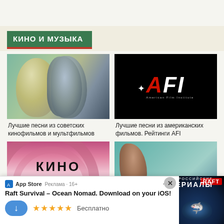КИНО И МУЗЫКА
[Figure (photo): Thumbnail image of Soviet movie poster with two profiles (man and woman) on teal/green background]
[Figure (logo): AFI (American Film Institute) logo in white and red text on black background]
Лучшие песни из советских кинофильмов и мультфильмов
Лучшие песни из американских фильмов. Рейтинги AFI
[Figure (photo): КИНО text on pink/magenta circular gradient background]
[Figure (photo): Russian serials cover with woman in period costume on teal background, text РОССИЙСКИЕ СЕРИАЛЫ]
[Figure (screenshot): App Store advertisement for Raft Survival Ocean Nomad iOS app with shark imagery and RAFT badge]
App Store  Реклама · 16+
Raft Survival – Ocean Nomad. Download on your iOS!
Бесплатно